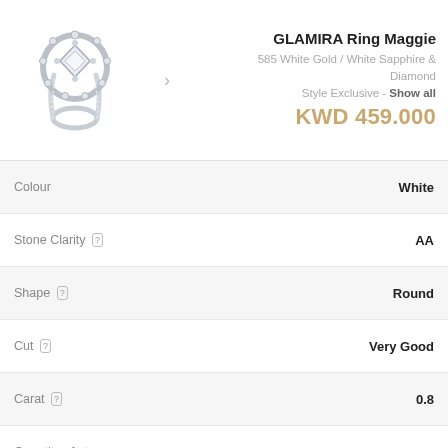[Figure (photo): Diamond ring photo - GLAMIRA Ring Maggie, halo style with white gold band]
GLAMIRA Ring Maggie
585 White Gold / White Sapphire & Diamond
Style Exclusive - Show all
KWD 459.000
| Attribute | Value |
| --- | --- |
| Colour | White |
| Stone Clarity [?] | AA |
| Shape [?] | Round |
| Cut [?] | Very Good |
| Carat [?] | 0.8 |
| Quantity of stones | 1 |
| Center Stone Diameter [?] | 6.0 mm |
ACCENT STONE [?]
| Attribute | Value |
| --- | --- |
| Stone | Diamond |
| Certification | GL Certified |
| Colour | H |